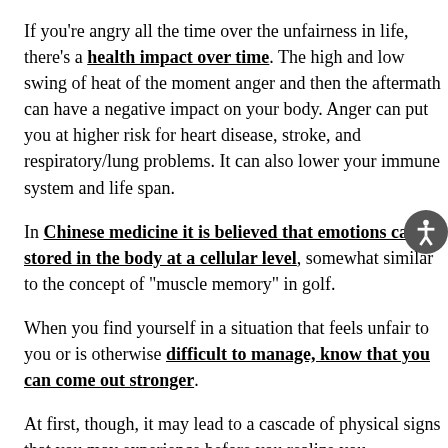If you're angry all the time over the unfairness in life, there's a health impact over time. The high and low swing of heat of the moment anger and then the aftermath can have a negative impact on your body. Anger can put you at higher risk for heart disease, stroke, and respiratory/lung problems. It can also lower your immune system and life span.
In Chinese medicine it is believed that emotions can be stored in the body at a cellular level, somewhat similar to the concept of "muscle memory" in golf.
When you find yourself in a situation that feels unfair to you or is otherwise difficult to manage, know that you can come out stronger.
At first, though, it may lead to a cascade of physical signs that you may experience before you realize you